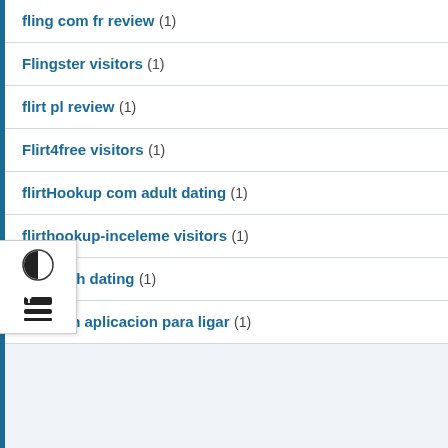fling com fr review (1)
Flingster visitors (1)
flirt pl review (1)
Flirt4free visitors (1)
flirtHookup com adult dating (1)
flirthookup-inceleme visitors (1)
flirthwith dating (1)
Flirtwith aplicacion para ligar (1)